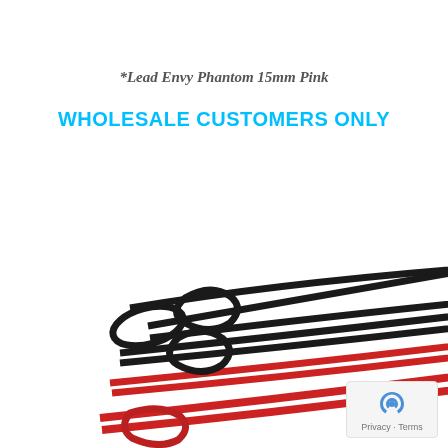*Lead Envy Phantom 15mm Pink
WHOLESALE CUSTOMERS ONLY
[Figure (photo): Multiple dog leads/leashes with chrome clasps arranged diagonally — black and red phantom-style leads fanned out showing handles on left and metal clip ends on right]
Privacy · Terms